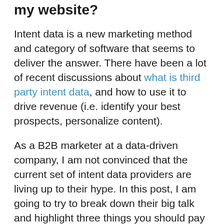my website?
Intent data is a new marketing method and category of software that seems to deliver the answer. There have been a lot of recent discussions about what is third party intent data, and how to use it to drive revenue (i.e. identify your best prospects, personalize content).
As a B2B marketer at a data-driven company, I am not convinced that the current set of intent data providers are living up to their hype. In this post, I am going to try to break down their big talk and highlight three things you should pay attention to when you evaluate your options:  data coverage/match rate, data